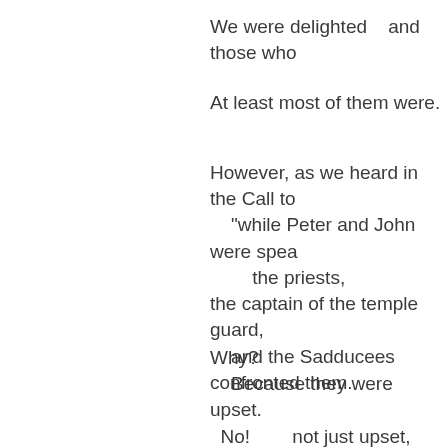We were delighted   and those who
At least most of them were.
However, as we heard in the Call to
    "while Peter and John were spea
        the priests,
the captain of the temple guard,
    and the Sadducees
confronted them.
Why?
    Because they were upset.
  No!       not just upset,    they were
        That the apostles were teachin
They threw the two followers into ja
    And then the next day they took t